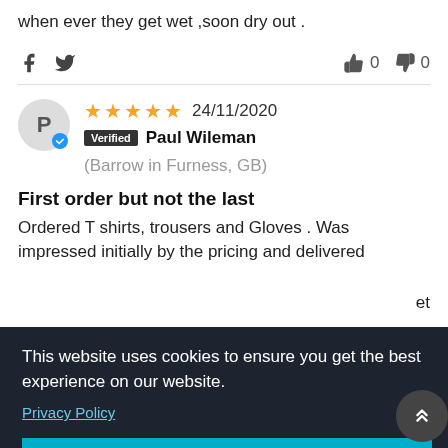when ever they get wet ,soon dry out .
Social share icons and vote buttons: thumbs up 0, thumbs down 0
24/11/2020 — Verified — Paul Wileman (Barrow in Furness, GB) — 5 stars
First order but not the last
Ordered T shirts, trousers and Gloves . Was impressed initially by the pricing and delivered
This website uses cookies to ensure you get the best experience on our website.
Privacy Policy
Accept
Verified  malcolm jarvis (Northampton,